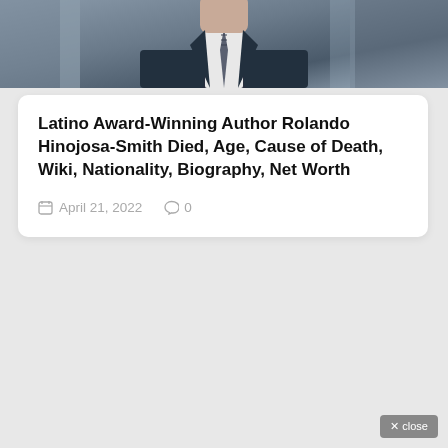[Figure (photo): A man in a dark suit and striped tie photographed indoors, partially cropped showing upper body]
Latino Award-Winning Author Rolando Hinojosa-Smith Died, Age, Cause of Death, Wiki, Nationality, Biography, Net Worth
April 21, 2022   0